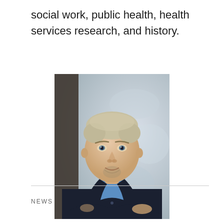social work, public health, health services research, and history.
[Figure (photo): Professional headshot of a man with short blond-gray hair, wearing a dark suit jacket and blue shirt, arms crossed, photographed against a blurred outdoor background.]
NEWS